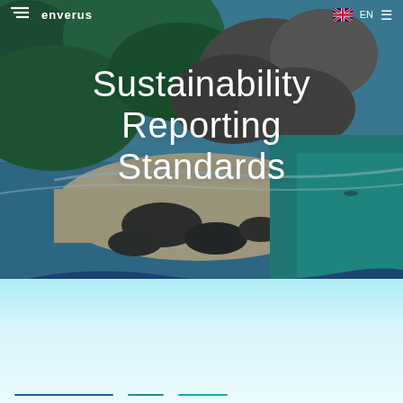Enverus | EN ☰
[Figure (photo): Aerial view of a tropical coastline with lush green forest, rocky shore, sandy beach, and turquoise sea water, viewed from above. Overlapping diagonal wave-shaped color bands (dark blue, medium blue, teal, light cyan) sweep across the lower portion of the image transitioning into a pale cyan-white background below.]
Sustainability Reporting Standards